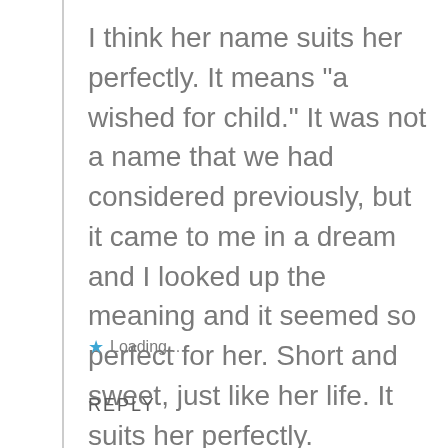I think her name suits her perfectly. It means “a wished for child.” It was not a name that we had considered previously, but it came to me in a dream and I looked up the meaning and it seemed so perfect for her. Short and sweet, just like her life. It suits her perfectly.
★ Loading...
REPLY